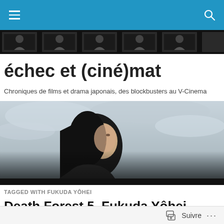échec et (ciné)mat — navigation bar
[Figure (photo): Film strip banner with repeated dark frames showing figures]
échec et (ciné)mat
Chroniques de films et drama japonais, des blockbusters au V-Cinema
[Figure (photo): Hero image of a young woman looking upward against a cloudy sky]
TAGGED WITH FUKUDA YÔHEI
Death Forest 5, Fukuda Yôhei, Tanaka Yûwa (2016)
Suivre